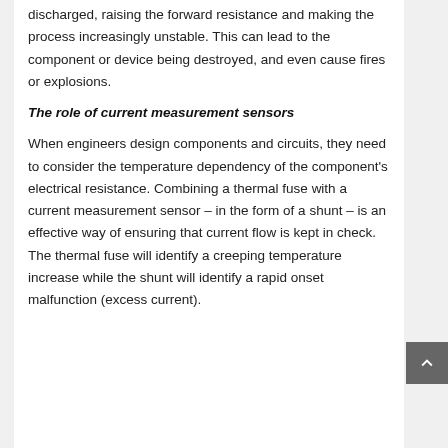insufficient, this power dissipation cannot be fully discharged, raising the forward resistance and making the process increasingly unstable. This can lead to the component or device being destroyed, and even cause fires or explosions.
The role of current measurement sensors
When engineers design components and circuits, they need to consider the temperature dependency of the component's electrical resistance. Combining a thermal fuse with a current measurement sensor – in the form of a shunt – is an effective way of ensuring that current flow is kept in check. The thermal fuse will identify a creeping temperature increase while the shunt will identify a rapid onset malfunction (excess current).